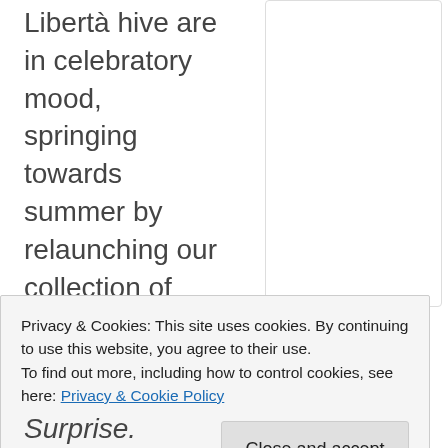Libertà hive are in celebratory mood, springing towards summer by relaunching our collection of novellas, Beach Hut Surprise.
Privacy & Cookies: This site uses cookies. By continuing to use this website, you agree to their use.
To find out more, including how to control cookies, see here: Privacy & Cookie Policy
anyway.)